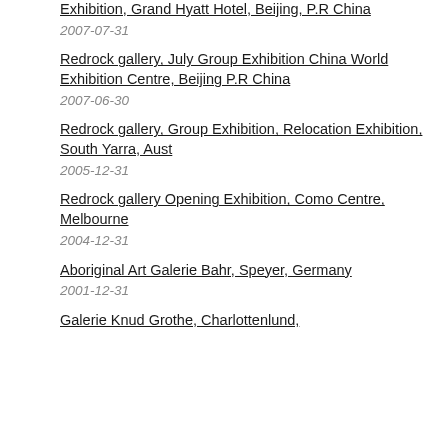Exhibition, Grand Hyatt Hotel, Beijing, P.R China
2007-07-31
Redrock gallery, July Group Exhibition China World Exhibition Centre, Beijing P.R China
2007-06-30
Redrock gallery, Group Exhibition, Relocation Exhibition, South Yarra, Aust
2005-12-31
Redrock gallery Opening Exhibition, Como Centre, Melbourne
2004-12-31
Aboriginal Art Galerie Bahr, Speyer, Germany
2001-12-31
Galerie Knud Grothe, Charlottenlund,